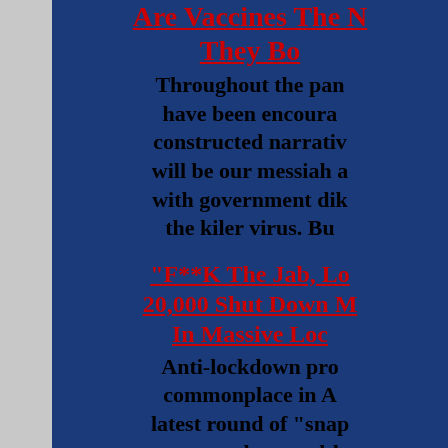Are Vaccines The N... They Bo...
Throughout the pan... have been encoura... constructed narrativ... will be our messiah a... with government dik... the kiler virus. Bu...
"F**K The Jab, Lo... 20,000 Shut Down M... In Massive Loc...
Anti-lockdown pro... commonplace in A... latest round of "snap... two months ago alth... think so if you rely o...